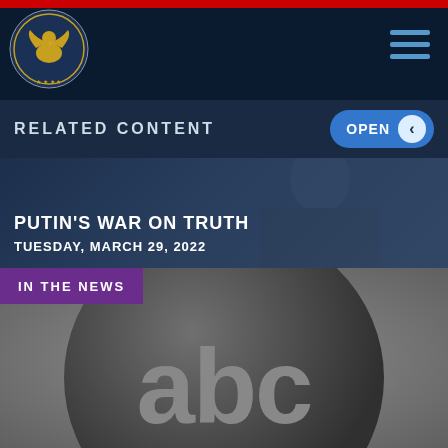[Figure (logo): Commission on Security and Cooperation in Europe seal/logo in gold on navy background]
RELATED CONTENT  OPEN
PUTIN'S WAR ON TRUTH
TUESDAY, MARCH 29, 2022
IN THE NEWS
[Figure (logo): ABC News logo — dark sphere with 'abc' text in gray]